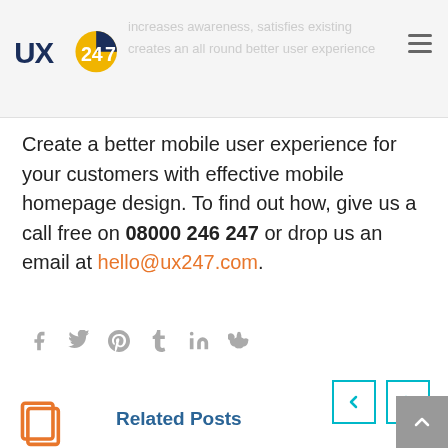UX247 logo header with ghost text: increases awareness, satisfies existing, creates an all round better user experience
Create a better mobile user experience for your customers with effective mobile homepage design. To find out how, give us a call free on 08000 246 247 or drop us an email at hello@ux247.com.
[Figure (infographic): Social media share icons row: Facebook, Twitter, Pinterest, Tumblr, LinkedIn, Reddit]
[Figure (infographic): Navigation arrows: previous (left chevron) and next (right chevron) in teal bordered boxes]
Related Posts
Mobile Search and User Experience